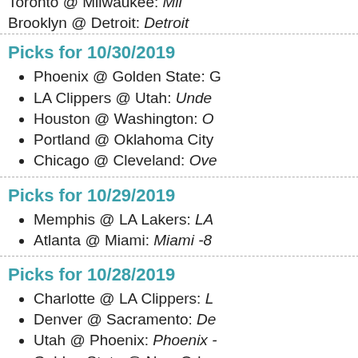Toronto @ Milwaukee: Mil...
Brooklyn @ Detroit: Detroit...
Picks for 10/30/2019
Phoenix @ Golden State: G...
LA Clippers @ Utah: Under...
Houston @ Washington: O...
Portland @ Oklahoma City...
Chicago @ Cleveland: Ove...
Picks for 10/29/2019
Memphis @ LA Lakers: LA...
Atlanta @ Miami: Miami -8...
Picks for 10/28/2019
Charlotte @ LA Clippers: L...
Denver @ Sacramento: De...
Utah @ Phoenix: Phoenix -...
Golden State @ New Orlea...
Oklahoma City @ Houston...
Philadelphia @ Atlanta: Ph...
Picks for 10/27/2019
Charlotte @ LA Lakers: LA...
Miami @ Minnesota: Miam...
Portland @ Dallas: Portlan...
Brooklyn @ Memphis: Mem...